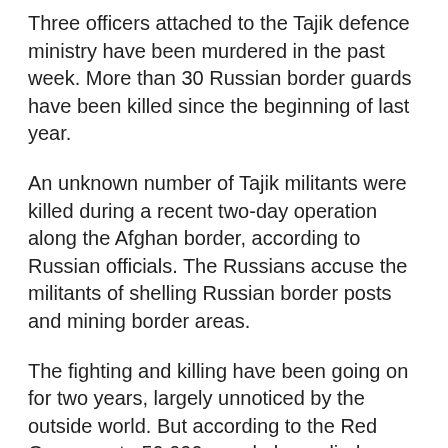Three officers attached to the Tajik defence ministry have been murdered in the past week. More than 30 Russian border guards have been killed since the beginning of last year.
An unknown number of Tajik militants were killed during a recent two-day operation along the Afghan border, according to Russian officials. The Russians accuse the militants of shelling Russian border posts and mining border areas.
The fighting and killing have been going on for two years, largely unnoticed by the outside world. But according to the Red Cross, up to 50,000 people have died, making it the bloodiest conflict in the former Soviet Union. Independent human rights organisations put the death toll nearer 100,000.